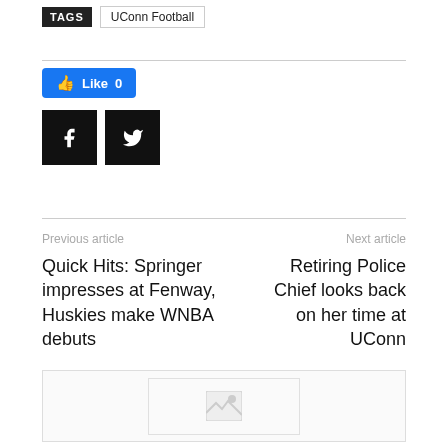TAGS  UConn Football
[Figure (other): Facebook Like button showing 'Like 0', Facebook share button (black square with white f), Twitter share button (black square with white bird icon)]
Previous article
Next article
Quick Hits: Springer impresses at Fenway, Huskies make WNBA debuts
Retiring Police Chief looks back on her time at UConn
[Figure (other): Advertisement placeholder box with broken image icon]